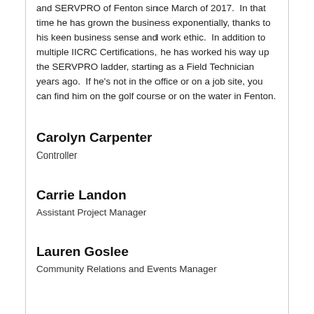and SERVPRO of Fenton since March of 2017. In that time he has grown the business exponentially, thanks to his keen business sense and work ethic. In addition to multiple IICRC Certifications, he has worked his way up the SERVPRO ladder, starting as a Field Technician years ago. If he's not in the office or on a job site, you can find him on the golf course or on the water in Fenton.
Carolyn Carpenter
Controller
Carrie Landon
Assistant Project Manager
Lauren Goslee
Community Relations and Events Manager